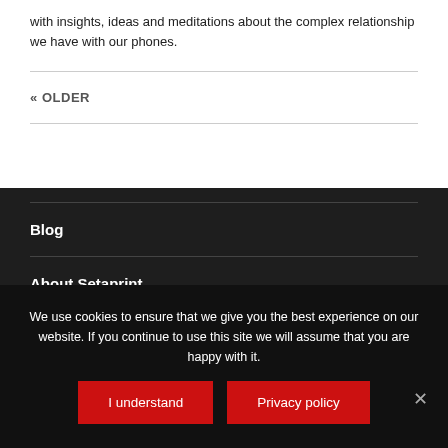with insights, ideas and meditations about the complex relationship we have with our phones.
« OLDER
Blog
About Setaprint
We use cookies to ensure that we give you the best experience on our website. If you continue to use this site we will assume that you are happy with it.
I understand
Privacy policy